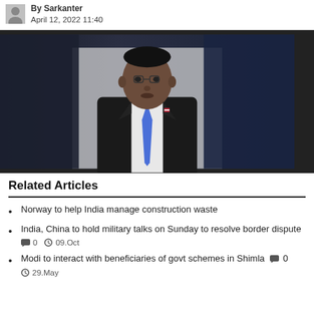By Sarkanter
April 12, 2022 11:40
[Figure (photo): A man in a dark suit and blue tie standing in front of a white and dark blue background, photographed from the chest up.]
Related Articles
Norway to help India manage construction waste
India, China to hold military talks on Sunday to resolve border dispute  0  09.Oct
Modi to interact with beneficiaries of govt schemes in Shimla  0  29.May